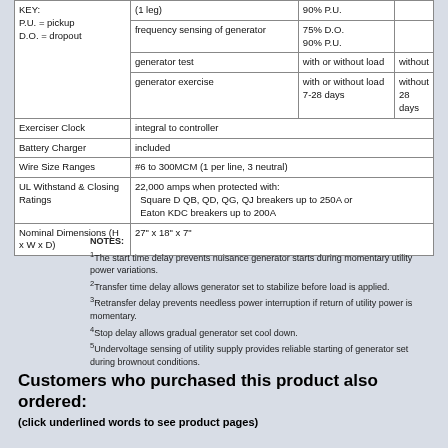|  |  |
| --- | --- |
| KEY:
P.U. = pickup
D.O. = dropout | (1 leg) | 90% P.U. |  |
|  | frequency sensing of generator | 75% D.O.
90% P.U. |  |
|  | generator test | with or without load | without |
|  | generator exercise | with or without load
7-28 days | without
28 days |
| Exerciser Clock | integral to controller |  |  |
| Battery Charger | included |  |  |
| Wire Size Ranges | #6 to 300MCM (1 per line, 3 neutral) |  |  |
| UL Withstand & Closing Ratings | 22,000 amps when protected with:
  Square D QB, QD, QG, QJ breakers up to 250A or
  Eaton KDC breakers up to 200A |  |  |
| Nominal Dimensions (H x W x D) | 27" x 18" x 7" |  |  |
NOTES:
1The start time delay prevents nuisance generator starts during momentary utility power variations.
2Transfer time delay allows generator set to stabilize before load is applied.
3Retransfer delay prevents needless power interruption if return of utility power is momentary.
4Stop delay allows gradual generator set cool down.
5Undervoltage sensing of utility supply provides reliable starting of generator set during brownout conditions.
Customers who purchased this product also ordered:
(click underlined words to see product pages)